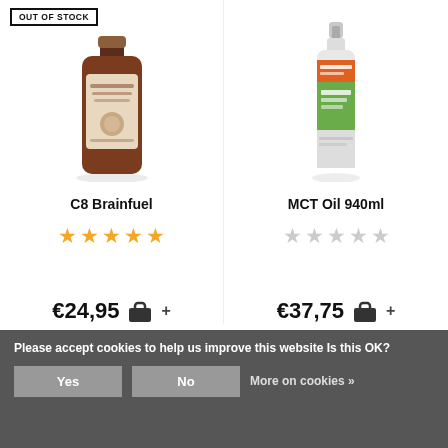[Figure (photo): C8 Brainfuel product bottle (dark brown glass bottle) with OUT OF STOCK badge overlay]
C8 Brainfuel
[Figure (other): Five yellow filled star rating for C8 Brainfuel]
€24,95
[Figure (photo): MCT Oil 940ml product bottle (clear plastic bottle with Bulletproof label)]
MCT Oil 940ml
[Figure (other): Five empty/grey star rating for MCT Oil 940ml]
€37,75
Please accept cookies to help us improve this website Is this OK?
Yes
No
More on cookies »
OUT OF STOCK
[Figure (logo): BULLETPROOF logo badge in orange/brown]